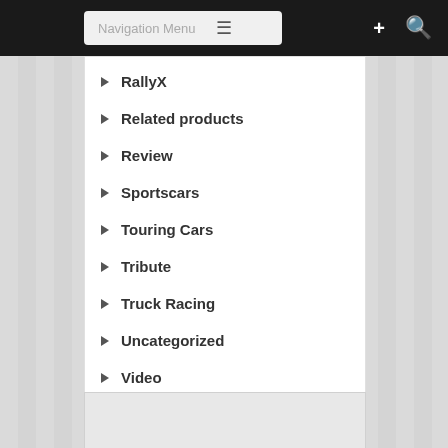Navigation Menu
RallyX
Related products
Review
Sportscars
Touring Cars
Tribute
Truck Racing
Uncategorized
Video
WRC